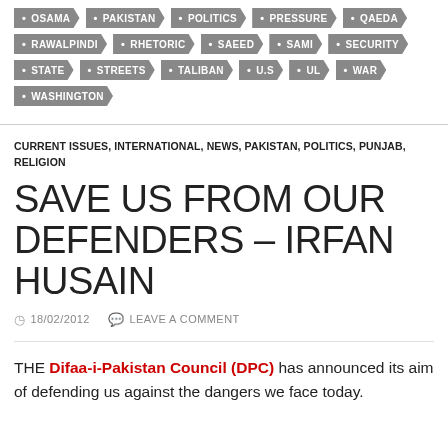OSAMA • PAKISTAN • POLITICS • PRESSURE • QAEDA
RAWALPINDI • RHETORIC • SAEED • SAMI • SECURITY
STATE • STREETS • TALIBAN • U.S • UL • WAR
WASHINGTON
CURRENT ISSUES, INTERNATIONAL, NEWS, PAKISTAN, POLITICS, PUNJAB, RELIGION
SAVE US FROM OUR DEFENDERS – IRFAN HUSAIN
18/02/2012   LEAVE A COMMENT
THE Difaa-i-Pakistan Council (DPC) has announced its aim of defending us against the dangers we face today.